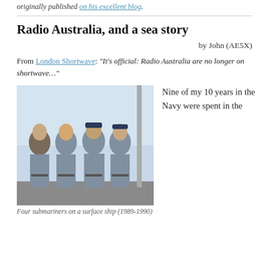originally published on his excellent blog.
Radio Australia, and a sea story
by John (AE5X)
From London Shortwave: “It’s official: Radio Australia are no longer on shortwave…”
[Figure (photo): Four submariners posing together on a surface ship, wearing grey navy uniforms. Two are wearing navy caps. The photo appears to be from 1989-1990.]
Four submariners on a surface ship (1989-1990)
Nine of my 10 years in the Navy were spent in the